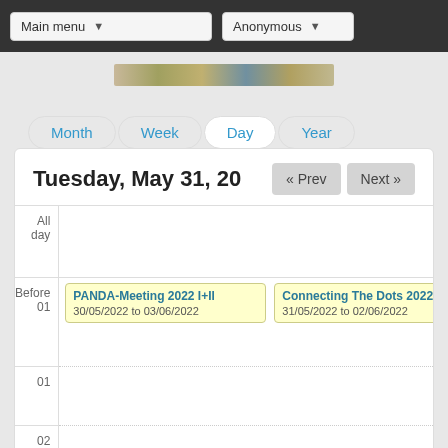Main menu | Anonymous
[Figure (screenshot): Navigation bar with Main menu dropdown and Anonymous user dropdown on dark background]
[Figure (illustration): Banner image strip]
Month | Week | Day | Year
Tuesday, May 31, 20
| Time | Events |
| --- | --- |
| All day |  |
| Before 01 | PANDA-Meeting 2022 I+II 30/05/2022 to 03/06/2022 | Connecting The Dots 2022 31/05/2022 to 02/06/2022 |
| 01 |  |
| 02 |  |
| 03 |  |